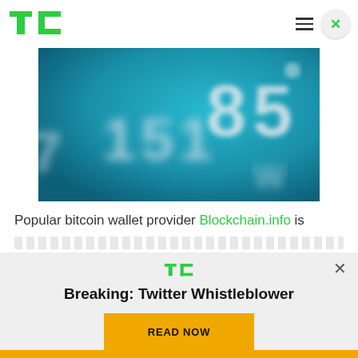TechCrunch header with logo, hamburger menu, and close button
[Figure (photo): Close-up photo of a blue credit card showing embossed numbers, blurred/bokeh style]
Popular bitcoin wallet provider Blockchain.info is
[Figure (infographic): TechCrunch promotional overlay modal with TC logo, headline 'Breaking: Twitter Whistleblower', and a 'READ NOW' button in gold/amber color]
Breaking: Twitter Whistleblower
Gold bottom bar